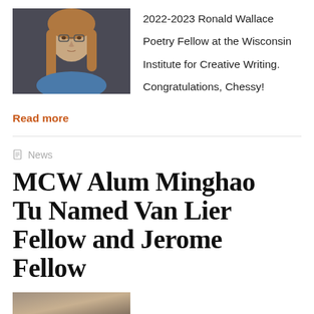[Figure (photo): Portrait photo of a young woman with long light brown hair and glasses, wearing a blue top, looking directly at the camera against a dark background.]
2022-2023 Ronald Wallace Poetry Fellow at the Wisconsin Institute for Creative Writing. Congratulations, Chessy!
Read more
News
MCW Alum Minghao Tu Named Van Lier Fellow and Jerome Fellow
[Figure (photo): Partial photo visible at the bottom of the page, cropped.]